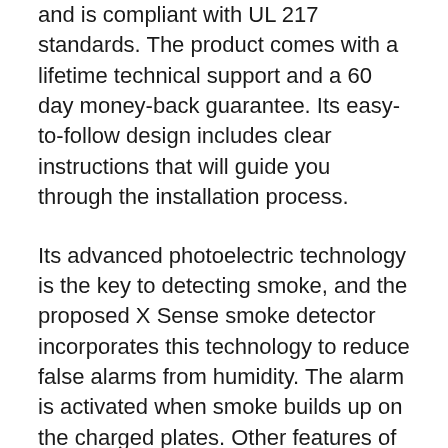and is compliant with UL 217 standards. The product comes with a lifetime technical support and a 60 day money-back guarantee. Its easy-to-follow design includes clear instructions that will guide you through the installation process.
Its advanced photoelectric technology is the key to detecting smoke, and the proposed X Sense smoke detector incorporates this technology to reduce false alarms from humidity. The alarm is activated when smoke builds up on the charged plates. Other features of the X Sense smoke detector include a malfunction warning system, operation backup mechanism, and ultra-long-life batteries. To reduce false alarms caused by humidity, the detector has a long-